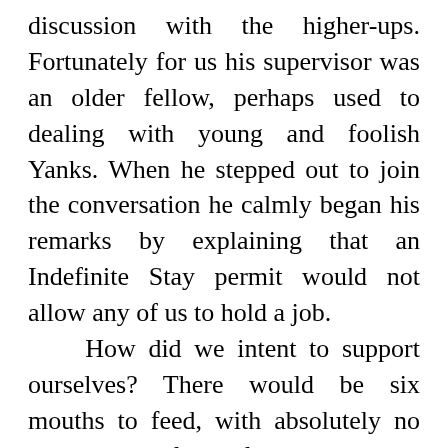discussion with the higher-ups. Fortunately for us his supervisor was an older fellow, perhaps used to dealing with young and foolish Yanks. When he stepped out to join the conversation he calmly began his remarks by explaining that an Indefinite Stay permit would not allow any of us to hold a job.
	How did we intent to support ourselves? There would be six mouths to feed, with absolutely no expectation of help from the English welfare system. He emphasized that fact more than once. At that point Gil produced our Cashier's Check, confirming that we could fund our stay. Thankfully the Consulate had warned us to be prepared for that necessity.